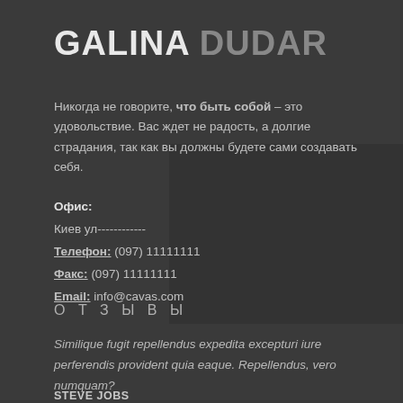GALINA DUDAR
Никогда не говорите, что быть собой – это удовольствие. Вас ждет не радость, а долгие страдания, так как вы должны будете сами создавать себя.
Офис: Киев ул------------ Телефон: (097) 11111111 Факс: (097) 11111111 Email: info@cavas.com
О Т З Ы В Ы
Similique fugit repellendus expedita excepturi iure perferendis provident quia eaque. Repellendus, vero numquam?
STEVE JOBS